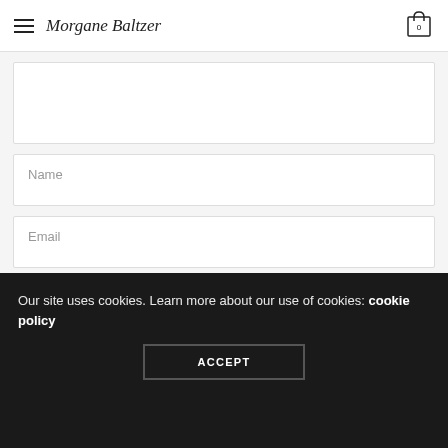Morgane Baltzer
Name
Email
Website
ENREGISTRER MON NOM, MON E-MAIL ET MON SITE DANS LE NAVIGATEUR POUR MON PROCHAIN COMMENTAIRE.
Our site uses cookies. Learn more about our use of cookies: cookie policy
ACCEPT